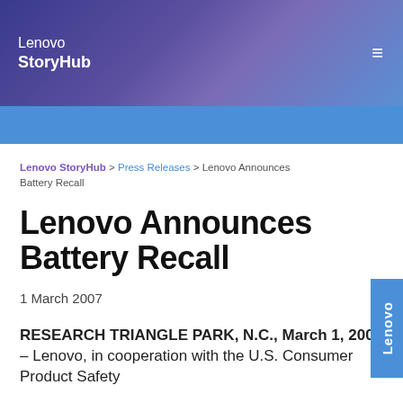Lenovo StoryHub
Lenovo StoryHub > Press Releases > Lenovo Announces Battery Recall
Lenovo Announces Battery Recall
1 March 2007
RESEARCH TRIANGLE PARK, N.C., March 1, 2007 – Lenovo, in cooperation with the U.S. Consumer Product Safety